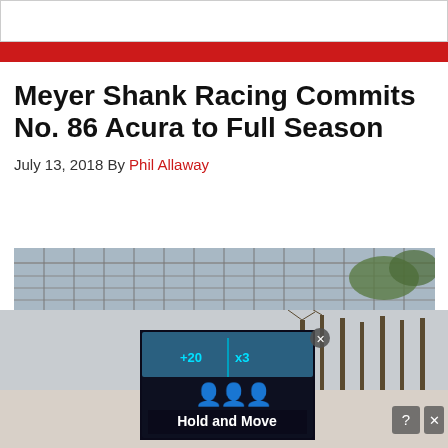Meyer Shank Racing Commits No. 86 Acura to Full Season
July 13, 2018 By Phil Allaway
[Figure (photo): Racetrack grandstand and pit lane with blue barriers, overhead scaffolding and fencing visible. An LED scoreboard showing numbers is visible at the bottom. Trees and sky in background.]
[Figure (infographic): Advertisement overlay showing a dark LED scoreboard with text 'Hold and Move' and icons, with close and help/X buttons in the corner.]